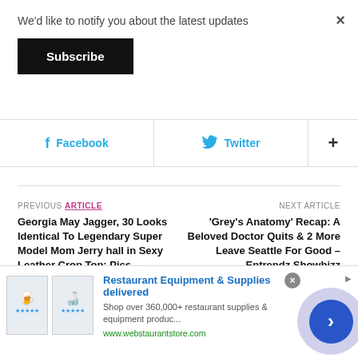We'd like to notify you about the latest updates
Subscribe
×
f   Facebook
Twitter
+
PREVIOUS ARTICLE
Georgia May Jagger, 30 Looks Identical To Legendary Super Model Mom Jerry hall in Sexy Leather Crop Top: Pics – Entrendz Showbizz
NEXT ARTICLE
'Grey's Anatomy' Recap: A Beloved Doctor Quits & 2 More Leave Seattle For Good – Entrendz Showbizz
Restaurant Equipment & Supplies delivered
Shop over 360,000+ restaurant supplies & equipment produc...
www.webstaurantstore.com